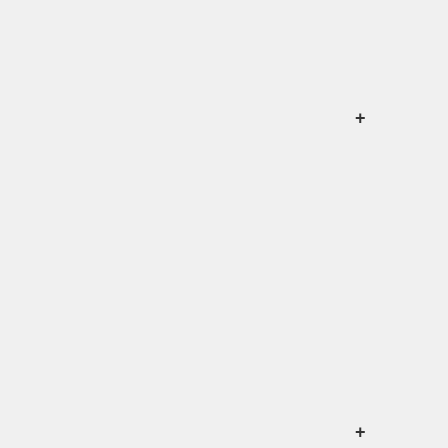also apply for the dependencies - just change the file paths and URLs.
====Forking====
If you want to make your own changes to improve VDrift, the easiest way is to fork the main VDrift repository on [https://git